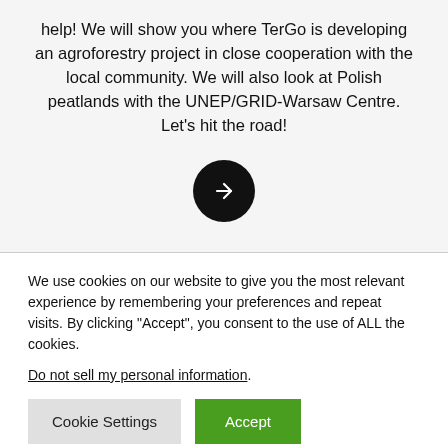help! We will show you where TerGo is developing an agroforestry project in close cooperation with the local community. We will also look at Polish peatlands with the UNEP/GRID-Warsaw Centre. Let’s hit the road!
[Figure (other): Black circular button with white right-arrow icon]
We use cookies on our website to give you the most relevant experience by remembering your preferences and repeat visits. By clicking “Accept”, you consent to the use of ALL the cookies.
Do not sell my personal information.
Cookie Settings   Accept